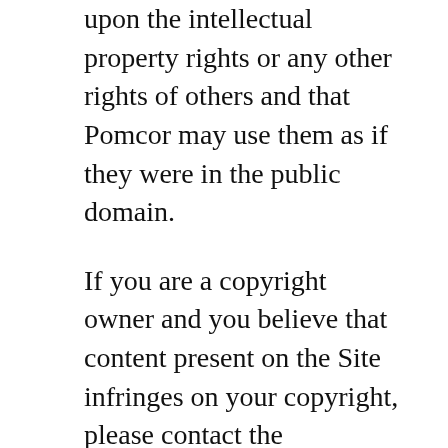upon the intellectual property rights or any other rights of others and that Pomcor may use them as if they were in the public domain.
If you are a copyright owner and you believe that content present on the Site infringes on your copyright, please contact the designated agent for Pomcor listed in the DMCA Designated Agent Directory, or contact us via the Contact Form.
By using the Site, you may expose the Client Device to malicious software, also known as “malware”. Malware may infect your Client Device, destroy or disclose to an attacker data present in your Client Device, use your Client Device to attack other computers, or the